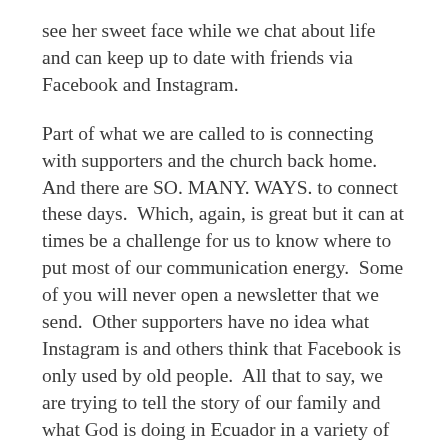see her sweet face while we chat about life and can keep up to date with friends via Facebook and Instagram.
Part of what we are called to is connecting with supporters and the church back home.  And there are SO. MANY. WAYS. to connect these days.  Which, again, is great but it can at times be a challenge for us to know where to put most of our communication energy.  Some of you will never open a newsletter that we send.  Other supporters have no idea what Instagram is and others think that Facebook is only used by old people.  All that to say, we are trying to tell the story of our family and what God is doing in Ecuador in a variety of ways.  We write different stuff here on the blog than in our newsletter.  So, let me know if you want your email address put on our newsletter list!
Another thing we are trying out is little recaps of our weeks on my Instagram account.  They don't cover